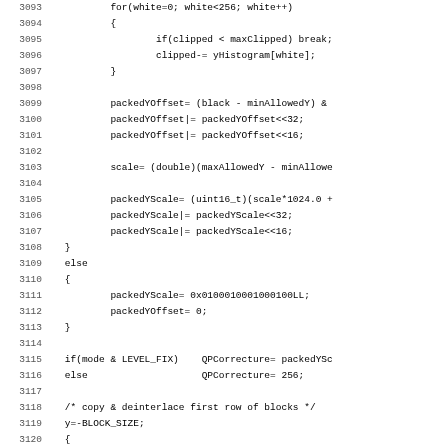[Figure (screenshot): Source code listing in monospace font showing C/C++ code lines 3093-3124, with line numbers on the left and code on the right. The code involves histogram processing, packed Y offset/scale calculations, mode checking, and block deinterlacing.]